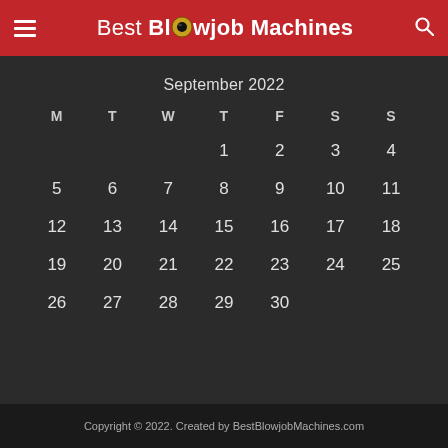Best Blowjob Machines
| M | T | W | T | F | S | S |
| --- | --- | --- | --- | --- | --- | --- |
|  |  |  | 1 | 2 | 3 | 4 |
| 5 | 6 | 7 | 8 | 9 | 10 | 11 |
| 12 | 13 | 14 | 15 | 16 | 17 | 18 |
| 19 | 20 | 21 | 22 | 23 | 24 | 25 |
| 26 | 27 | 28 | 29 | 30 |  |  |
September 2022
Copyright © 2022. Created by BestBlowjobMachines.com